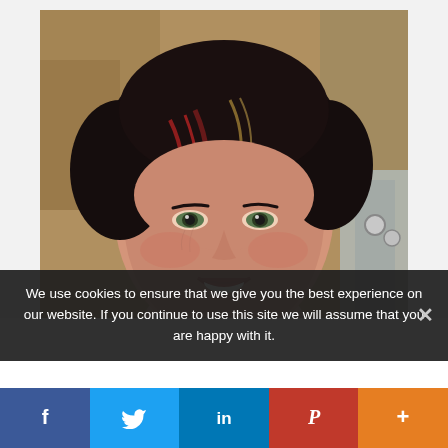[Figure (photo): Close-up portrait of a smiling middle-aged woman with short dark hair with red highlights, green eyes, wearing a grey top. Background shows blurred rocky/sandy terrain and a grey backpack strap visible on the right.]
We use cookies to ensure that we give you the best experience on our website. If you continue to use this site we will assume that you are happy with it.
[Figure (infographic): Social sharing bar with five buttons: Facebook (f), Twitter (bird icon), LinkedIn (in), Pinterest (P), and More (+)]